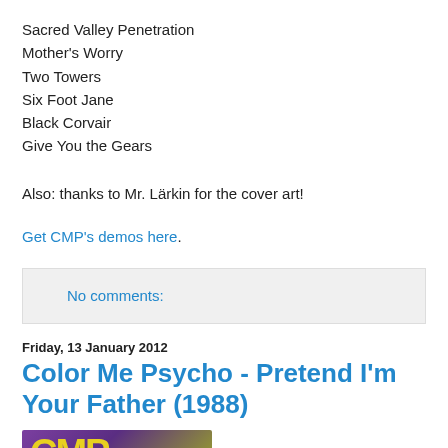Sacred Valley Penetration
Mother's Worry
Two Towers
Six Foot Jane
Black Corvair
Give You the Gears
Also: thanks to Mr. Lärkin for the cover art!
Get CMP's demos here.
No comments:
Friday, 13 January 2012
Color Me Psycho - Pretend I'm Your Father (1988)
[Figure (photo): Partial album cover image with yellow text on purple background]